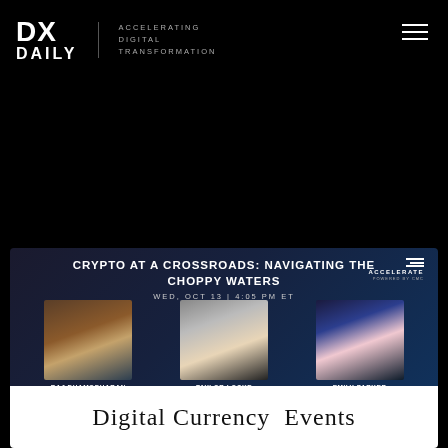DX DAILY — ACCELERATING DIGITAL TRANSFORMATION
[Figure (infographic): Event promotional banner: CRYPTO AT A CROSSROADS: NAVIGATING THE CHOPPY WATERS — WED, OCT 13 | 4:05 PM ET — featuring speakers Raj Dhamodharan (EVP, Blockchain & Digital Asset Products, Mastercard), Taylor Locke (Money Reporter, CNBC), Emily Parker (Managing Director, International Content, CoinDesk) — with Accelerate logo]
Digital Currency  Events